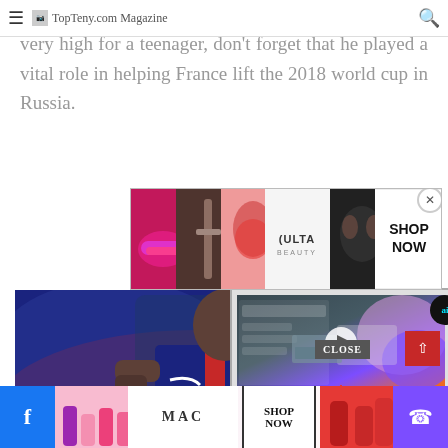TopTeny.com Magazine
teenager's signature. Although this amount may seem very high for a teenager, don't forget that he played a vital role in helping France lift the 2018 world cup in Russia.
[Figure (photo): ULTA Beauty advertisement banner with makeup imagery]
[Figure (photo): Photo of a soccer player wearing PSG navy blue jersey with red stripe, celebrating with fists raised, overlaid with a TV vs Monitor comparison video ad]
[Figure (photo): MAC cosmetics advertisement banner at the bottom of the page]
CLOSE